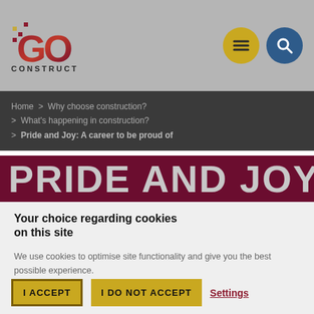[Figure (logo): Go Construct logo with stylized GO text in dark red/maroon gradient with pixel-dot decoration, and CONSTRUCT text below]
Home > Why choose construction? > What's happening in construction? > Pride and Joy: A career to be proud of
PRIDE AND JOY, A
Your choice regarding cookies on this site
We use cookies to optimise site functionality and give you the best possible experience.
I ACCEPT | I DO NOT ACCEPT | Settings